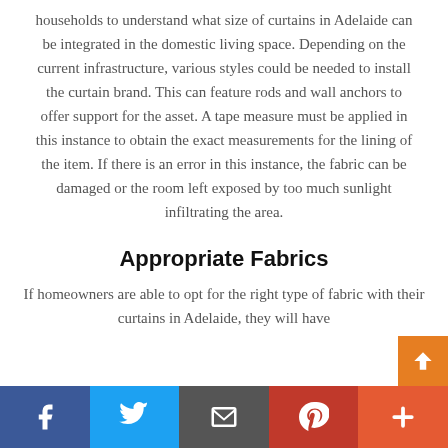households to understand what size of curtains in Adelaide can be integrated in the domestic living space. Depending on the current infrastructure, various styles could be needed to install the curtain brand. This can feature rods and wall anchors to offer support for the asset. A tape measure must be applied in this instance to obtain the exact measurements for the lining of the item. If there is an error in this instance, the fabric can be damaged or the room left exposed by too much sunlight infiltrating the area.
Appropriate Fabrics
If homeowners are able to opt for the right type of fabric with their curtains in Adelaide, they will have